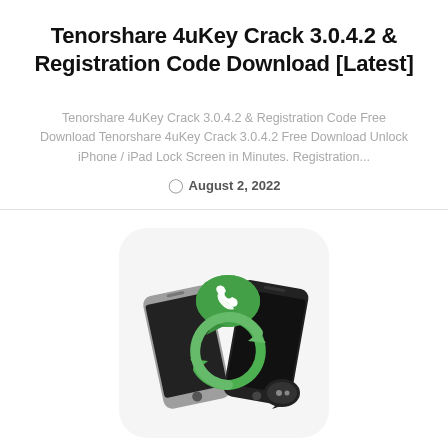Tenorshare 4uKey Crack 3.0.4.2 & Registration Code Download [Latest]
Tenorshare 4uKey Crack 3.0.4.2 & Registration Code Free Download Tenorshare 4uKey Crack 3.0.4.2 Free Download Unlock iPhone / iPad Lock Screen in Minutes. Registration...
August 2, 2022
[Figure (illustration): Two smartphones leaning against each other with a green phone call speech bubble and a green circular refresh/sync arrow in the center, plus a small chat bubble icon in the lower right corner. The app icon is displayed on a light gray rounded rectangle background.]
Android / Softwares